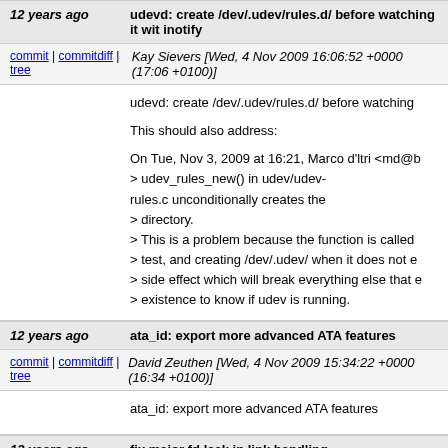12 years ago    udevd: create /dev/.udev/rules.d/ before watching it wit inotify
commit | commitdiff | tree    Kay Sievers [Wed, 4 Nov 2009 16:06:52 +0000 (17:06 +0100)]
udevd: create /dev/.udev/rules.d/ before watching

This should also address:

On Tue, Nov 3, 2009 at 16:21, Marco d'ltri <md@b
> udev_rules_new() in udev/udev-rules.c unconditionally creates the
> directory.
> This is a problem because the function is called
> test, and creating /dev/.udev/ when it does not e
> side effect which will break everything else that e
> existence to know if udev is running.
12 years ago    ata_id: export more advanced ATA features
commit | commitdiff | tree    David Zeuthen [Wed, 4 Nov 2009 15:34:22 +0000 (16:34 +0100)]
ata_id: export more advanced ATA features
12 years ago    fix major fd leak in link handling